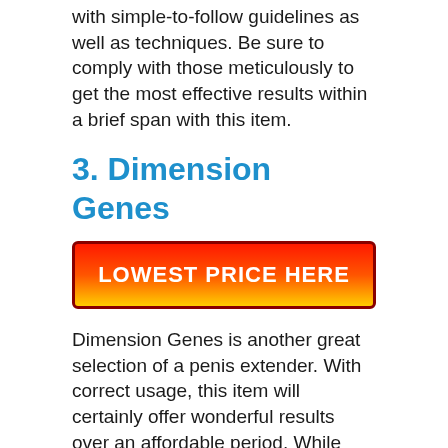with simple-to-follow guidelines as well as techniques. Be sure to comply with those meticulously to get the most effective results within a brief span with this item.
3. Dimension Genes
[Figure (other): Red to gold gradient button with white bold text reading LOWEST PRICE HERE]
Dimension Genes is another great selection of a penis extender. With correct usage, this item will certainly offer wonderful results over an affordable period. While working, it will maintain a steady convenience level throughout the procedure.
Dimension Genes features a strap and a